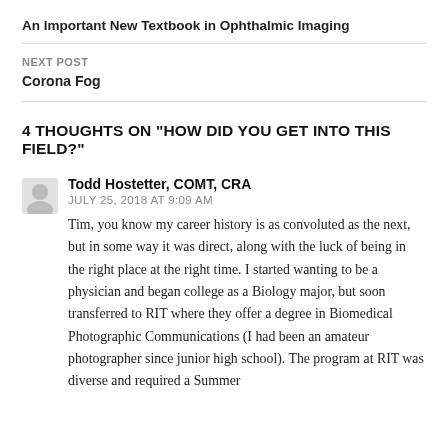An Important New Textbook in Ophthalmic Imaging
NEXT POST
Corona Fog
4 THOUGHTS ON "HOW DID YOU GET INTO THIS FIELD?"
Todd Hostetter, COMT, CRA
JULY 25, 2018 AT 9:09 AM
Tim, you know my career history is as convoluted as the next, but in some way it was direct, along with the luck of being in the right place at the right time. I started wanting to be a physician and began college as a Biology major, but soon transferred to RIT where they offer a degree in Biomedical Photographic Communications (I had been an amateur photographer since junior high school). The program at RIT was diverse and required a Summer